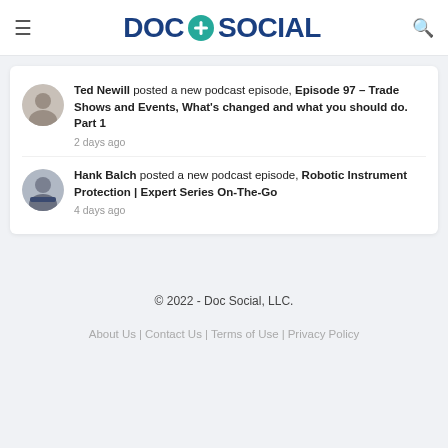DOC + SOCIAL
Ted Newill posted a new podcast episode, Episode 97 – Trade Shows and Events, What's changed and what you should do. Part 1
2 days ago
Hank Balch posted a new podcast episode, Robotic Instrument Protection | Expert Series On-The-Go
4 days ago
© 2022 - Doc Social, LLC.
About Us | Contact Us | Terms of Use | Privacy Policy